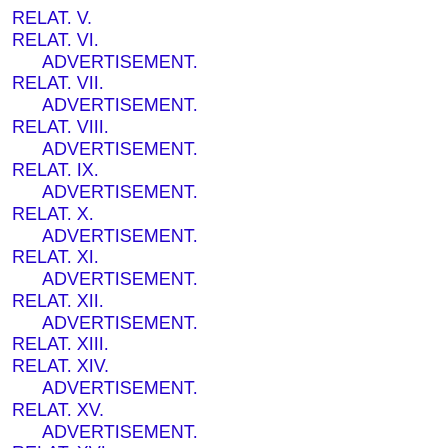RELAT. V.
RELAT. VI.
ADVERTISEMENT.
RELAT. VII.
ADVERTISEMENT.
RELAT. VIII.
ADVERTISEMENT.
RELAT. IX.
ADVERTISEMENT.
RELAT. X.
ADVERTISEMENT.
RELAT. XI.
ADVERTISEMENT.
RELAT. XII.
ADVERTISEMENT.
RELAT. XIII.
RELAT. XIV.
ADVERTISEMENT.
RELAT. XV.
ADVERTISEMENT.
RELAT. XVI.
RELAT. XVII.
ADVERTISEMENT.
RELAT. XVIII.
ADVERTISEMENT.